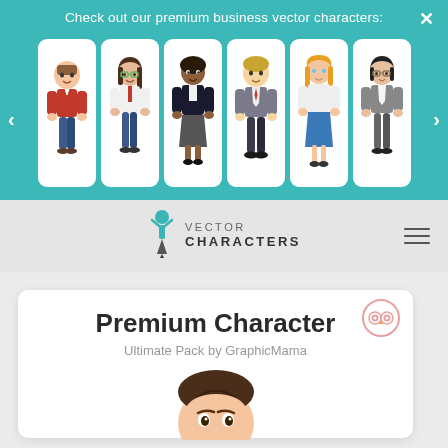Check out our premium business vector characters:
[Figure (illustration): Teal banner with six cartoon business vector character cards in a carousel. Characters include male and female business professionals in various outfits. Left and right navigation arrows visible. Close X button top right.]
[Figure (logo): Vector Characters logo with pen-nib trophy figure icon and text VECTOR CHARACTERS in uppercase]
Premium Character
Ultimate Pack by GraphicMama
[Figure (illustration): Top of a cartoon character head with dark brown hair, partially visible at bottom of page]